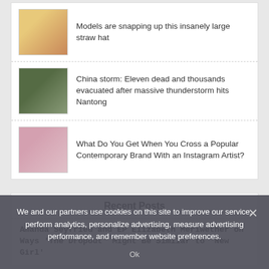Models are snapping up this insanely large straw hat
China storm: Eleven dead and thousands evacuated after massive thunderstorm hits Nantong
What Do You Get When You Cross a Popular Contemporary Brand With an Instagram Artist?
Recent Posts
Amanda Seyfried and EP Elizabeth Meriwether on Ways 'The Dropout' Might Be Similar to 'New Girl'
We and our partners use cookies on this site to improve our service, perform analytics, personalize advertising, measure advertising performance, and remember website preferences.
Ok